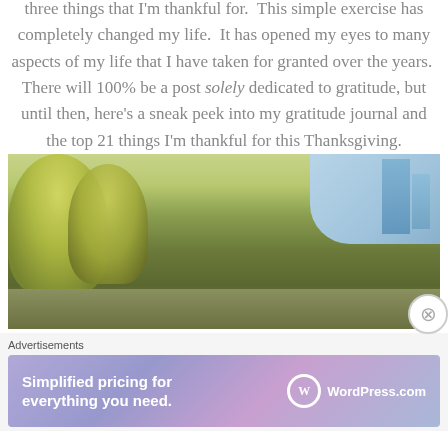three things that I'm thankful for.  This simple exercise has completely changed my life.  It has opened my eyes to many aspects of my life that I have taken for granted over the years.  There will 100% be a post solely dedicated to gratitude, but until then, here's a sneak peek into my gratitude journal and the top 21 things I'm thankful for this Thanksgiving.
[Figure (photo): Outdoor autumn park scene with yellow-green trees in the foreground and a city building visible on the right side against a light sky. A person appears at the bottom center.]
Advertisements
[Figure (other): WordPress.com advertisement banner with gradient purple/pink background. Text reads: Simplified pricing for everything you need. WordPress.com logo on the right.]